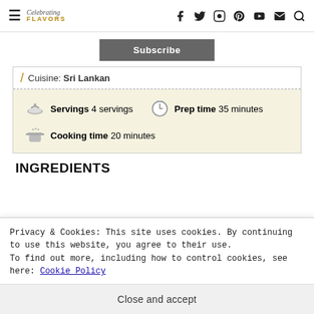Celebrating FLAVORS — with social icons and search
Subscribe
Cuisine: Sri Lankan
Servings 4 servings   Prep time 35 minutes
Cooking time 20 minutes
INGREDIENTS
Privacy & Cookies: This site uses cookies. By continuing to use this website, you agree to their use.
To find out more, including how to control cookies, see here: Cookie Policy
Close and accept